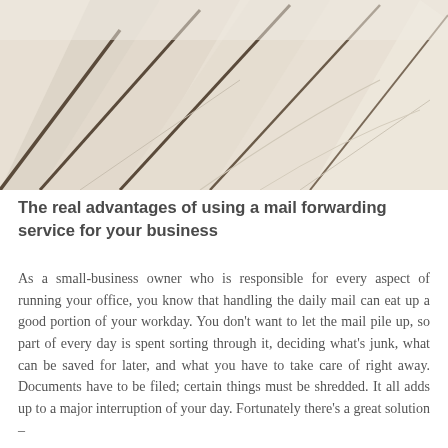[Figure (photo): Close-up photo of multiple white/cream envelopes fanned out, showing their back flap side with diagonal fold lines visible against a light beige background.]
The real advantages of using a mail forwarding service for your business
As a small-business owner who is responsible for every aspect of running your office, you know that handling the daily mail can eat up a good portion of your workday. You don't want to let the mail pile up, so part of every day is spent sorting through it, deciding what's junk, what can be saved for later, and what you have to take care of right away. Documents have to be filed; certain things must be shredded. It all adds up to a major interruption of your day. Fortunately there's a great solution –